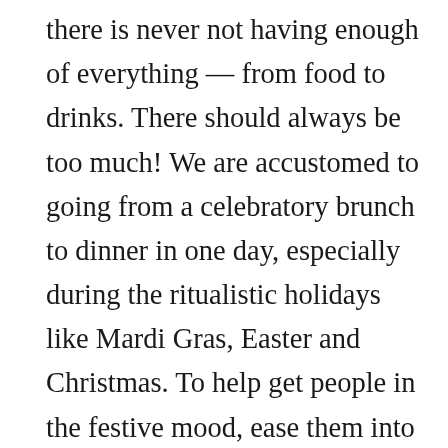there is never not having enough of everything — from food to drinks. There should always be too much! We are accustomed to going from a celebratory brunch to dinner in one day, especially during the ritualistic holidays like Mardi Gras, Easter and Christmas. To help get people in the festive mood, ease them into the day by serving plenty of cafe au lait and light snacks as they arrive — like baby hot beignets dusted with powdered sugar. If you want to add something stronger you can do an Irish coffee or a simple glass of Champagne. This will help contribute to a livelier atmosphere as the gathering progresses to the next course of the meal.